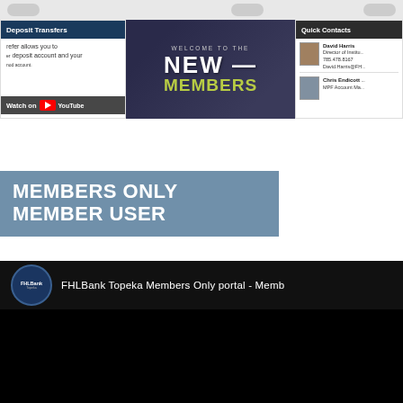[Figure (screenshot): Screenshot of FHLBank Topeka Members Only web portal showing three panels: Deposit Transfers panel on left with Watch on YouTube overlay, Welcome to the New Members banner in center, and Quick Contacts panel on right with David Harris and Chris Endicott contacts.]
MEMBERS ONLY
MEMBER USER
[Figure (screenshot): FHLBank Topeka Members Only portal YouTube video embed with FHLBank logo and title 'FHLBank Topeka Members Only portal - Memb...' on black background.]